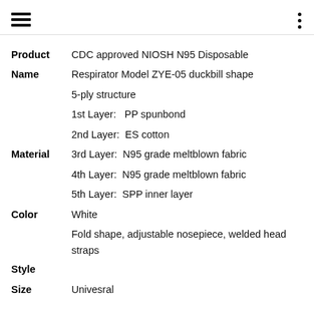hamburger menu icon and three-dot menu icon
| Field | Value |
| --- | --- |
| Product | CDC approved NIOSH N95 Disposable |
| Name | Respirator Model ZYE-05 duckbill shape |
| Material | 5-ply structure
1st Layer:  PP spunbond
2nd Layer: ES cotton
3rd Layer: N95 grade meltblown fabric
4th Layer: N95 grade meltblown fabric
5th Layer: SPP inner layer |
| Color | White |
| Style | Fold shape, adjustable nosepiece, welded head straps |
| Size | Univesral |